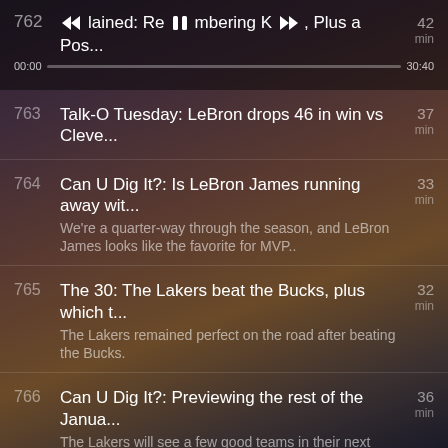762 | Lakers, [playing]: Remembering K[obe], Plus a Pos... | 42 min | 00:00 — 30:40
763 | Talk-O Tuesday: LeBron drops 46 in win vs Cleve... | 37 min
764 | Can U Dig It?: Is LeBron James running away wit... | 33 min | We're a quarter-way through the season, and LeBron James looks like the favorite for MVP..
765 | The 30: The Lakers beat the Bucks, plus which t... | 32 min | The Lakers remained perfect on the road after beating the Bucks.
766 | Can U Dig It?: Previewing the rest of the Janua... | 36 min | The Lakers will see a few good teams in their next slate of games.
767 | The 30: Previewing Lakers-Pelicans, why LeBron... | 38 min